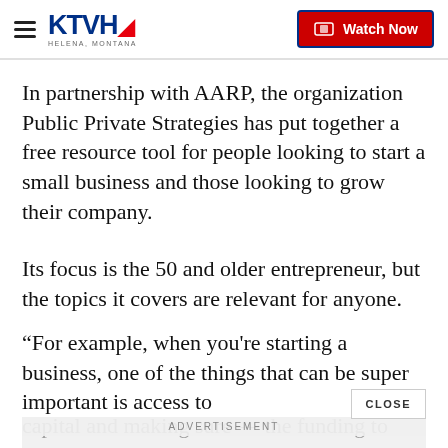KTVH — Watch Now
In partnership with AARP, the organization Public Private Strategies has put together a free resource tool for people looking to start a small business and those looking to grow their company.
Its focus is the 50 and older entrepreneur, but the topics it covers are relevant for anyone.
“For example, when you're starting a business, one of the things that can be super important is access to capital and making sure — the funding to start and grow your business,” said Buttle.